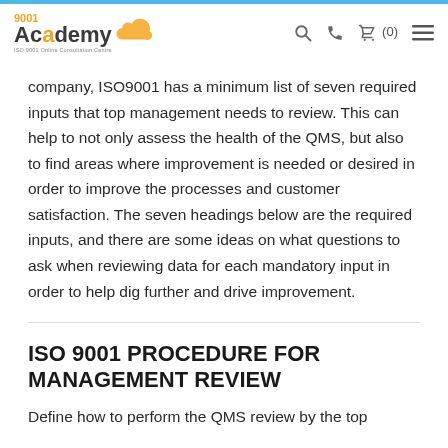9001 Academy | ISO 9001 Online Consultation Centre
company, ISO9001 has a minimum list of seven required inputs that top management needs to review. This can help to not only assess the health of the QMS, but also to find areas where improvement is needed or desired in order to improve the processes and customer satisfaction. The seven headings below are the required inputs, and there are some ideas on what questions to ask when reviewing data for each mandatory input in order to help dig further and drive improvement.
ISO 9001 PROCEDURE FOR MANAGEMENT REVIEW
Define how to perform the QMS review by the top